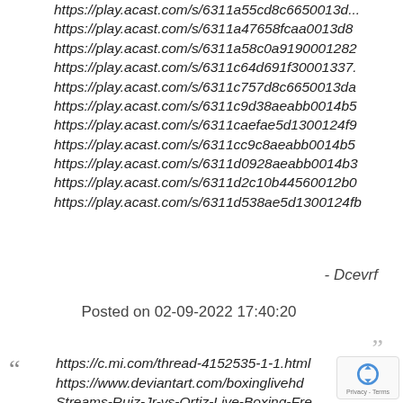https://play.acast.com/s/6311a55cd8c6650013d...
https://play.acast.com/s/6311a47658fcaa0013d8...
https://play.acast.com/s/6311a58c0a91900012822...
https://play.acast.com/s/6311c64d691f30001337...
https://play.acast.com/s/6311c757d8c6650013da...
https://play.acast.com/s/6311c9d38aeabb0014b5...
https://play.acast.com/s/6311caefae5d1300124f9...
https://play.acast.com/s/6311cc9c8aeabb0014b5...
https://play.acast.com/s/6311d0928aeabb0014b3...
https://play.acast.com/s/6311d2c10b44560012b0...
https://play.acast.com/s/6311d538ae5d1300124fb...
- Dcevrf
Posted on 02-09-2022 17:40:20
https://c.mi.com/thread-4152535-1-1.html...
https://www.deviantart.com/boxinglivehe...
Streams-Ruiz-Jr-vs-Ortiz-Live-Boxing-Fre...